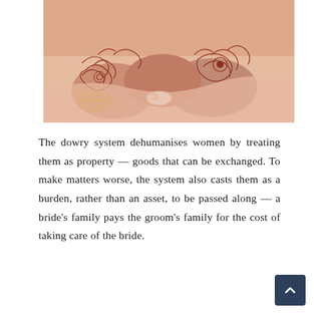[Figure (photo): Close-up photograph of hands adorned with henna (mehndi) patterns and gold/pearl bangles, wearing a pink/peach outfit, suggesting a South Asian wedding or cultural ceremony.]
The dowry system dehumanises women by treating them as property — goods that can be exchanged. To make matters worse, the system also casts them as a burden, rather than an asset, to be passed along — a bride's family pays the groom's family for the cost of taking care of the bride.